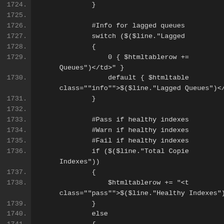[Figure (screenshot): Code editor screenshot showing lines 1724-1741 of a script with PowerShell-style code including switch statements, HTML table row string concatenation, and conditional logic for lagged queues and healthy indexes checks.]